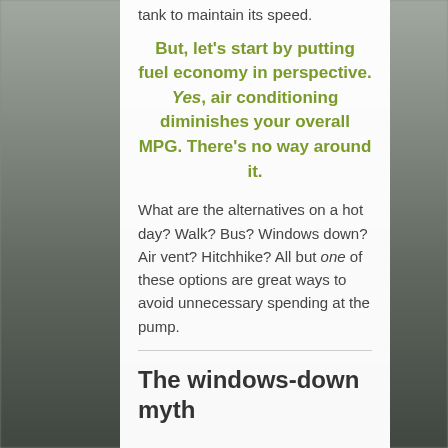tank to maintain its speed.
But, let's start by putting fuel economy in perspective. Yes, air conditioning diminishes your overall MPG. There's no way around it.
What are the alternatives on a hot day? Walk? Bus? Windows down? Air vent? Hitchhike? All but one of these options are great ways to avoid unnecessary spending at the pump.
The windows-down myth